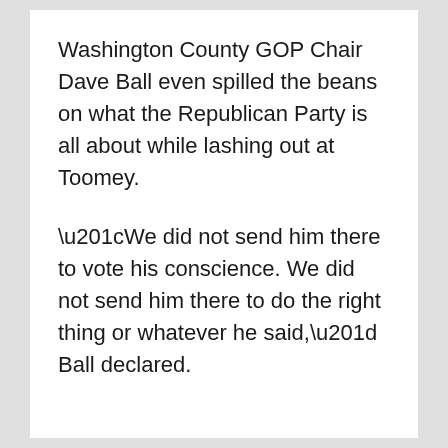Washington County GOP Chair Dave Ball even spilled the beans on what the Republican Party is all about while lashing out at Toomey.
“We did not send him there to vote his conscience. We did not send him there to do the right thing or whatever he said,” Ball declared.